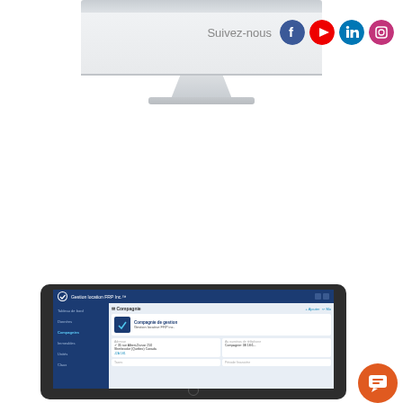[Figure (screenshot): Monitor display showing a software application screen with social media icons (Facebook, YouTube, LinkedIn, Instagram) and the text 'Suivez-nous' (Follow us)]
[Figure (screenshot): Tablet showing Gestion location FRP Inc. software application interface with sidebar navigation and company details form]